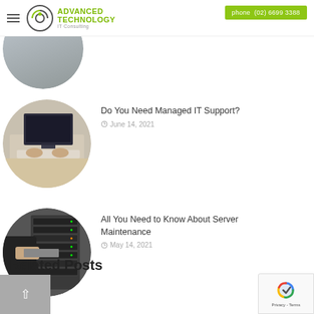Advanced Technology IT Consulting — phone (02) 6699 3388
[Figure (photo): Partially visible circular cropped photo at top of page]
Do You Need Managed IT Support?
June 14, 2021
[Figure (photo): Circular cropped photo of person typing on keyboard at a desk with monitor]
All You Need to Know About Server Maintenance
May 14, 2021
[Figure (photo): Circular cropped photo of technician working on server rack hardware]
Related Posts